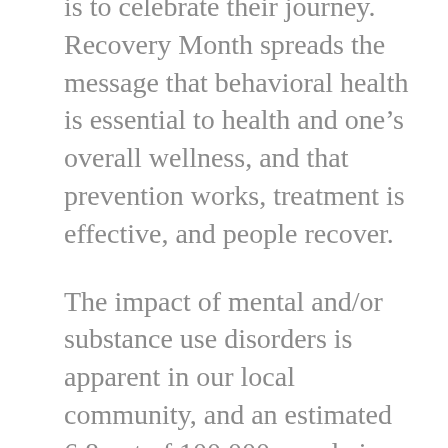is to celebrate their journey. Recovery Month spreads the message that behavioral health is essential to health and one's overall wellness, and that prevention works, treatment is effective, and people recover.
The impact of mental and/or substance use disorders is apparent in our local community, and an estimated 6.8 out of 100,000 people in Virginia suffering from drug overdose fatalities. According to the 2013 National Survey on Drug Use and Health, 22.7 million persons aged 12 or older needed